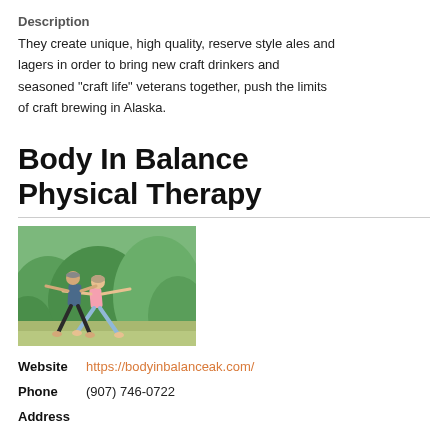Description
They create unique, high quality, reserve style ales and lagers in order to bring new craft drinkers and seasoned "craft life" veterans together, push the limits of craft brewing in Alaska.
Body In Balance Physical Therapy
[Figure (photo): Two people (an older man and woman) doing yoga/stretching poses outdoors, arms extended sideways in a warrior-like stance, green foliage in the background.]
Website  https://bodyinbalanceak.com/
Phone   (907) 746-0722
Address